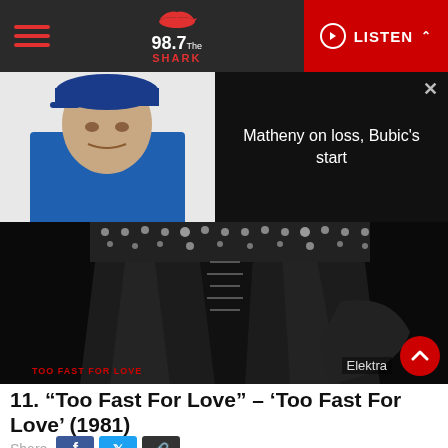98.7 The Shark — LISTEN
[Figure (screenshot): Video thumbnail showing a man in a blue baseball cap with text overlay: Matheny on loss, Bubic's start]
[Figure (photo): Album cover for 'Too Fast For Love' showing leather pants with studs, with 'TOO FAST FOR LOVE' text in red at bottom left and 'Elektra' label at bottom right]
11. “Too Fast For Love” – ‘Too Fast For Love’ (1981)
Share